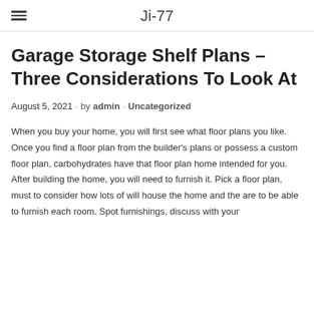Ji-77
Garage Storage Shelf Plans – Three Considerations To Look At
August 5, 2021 · by admin · Uncategorized
When you buy your home, you will first see what floor plans you like. Once you find a floor plan from the builder's plans or possess a custom floor plan, carbohydrates have that floor plan home intended for you. After building the home, you will need to furnish it. Pick a floor plan, must to consider how lots of will house the home and the are to be able to furnish each room. Spot furnishings, discuss with your